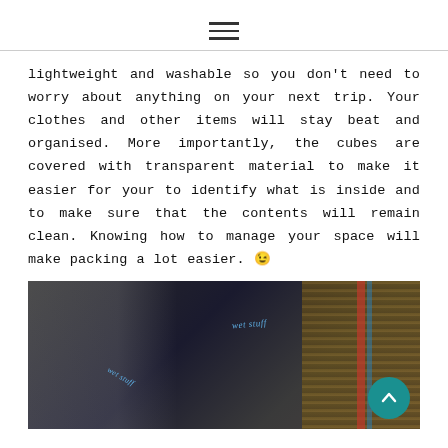[hamburger menu icon]
lightweight and washable so you don't need to worry about anything on your next trip. Your clothes and other items will stay beat and organised. More importantly, the cubes are covered with transparent material to make it easier for your to identify what is inside and to make sure that the contents will remain clean. Knowing how to manage your space will make packing a lot easier. 😉
[Figure (photo): A black travel bag labeled 'wet stuff' in blue cursive script, placed in an open suitcase with red and blue trim. A wooden floor is visible in the background on the right side. A teal scroll-to-top button with an upward arrow is overlaid in the bottom-right corner.]